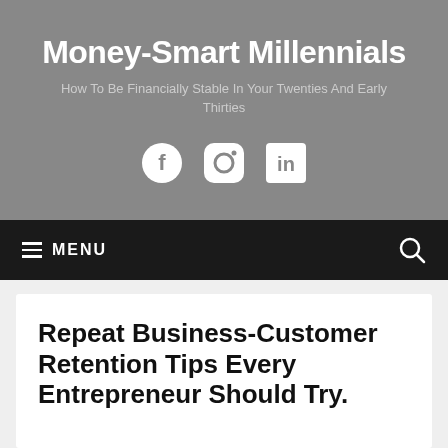Money-Smart Millennials
How To Be Financially Stable In Your Twenties And Early Thirties
[Figure (illustration): Social media icons: Facebook circle, Instagram rounded-square, LinkedIn square]
≡ MENU
Repeat Business-Customer Retention Tips Every Entrepreneur Should Try.